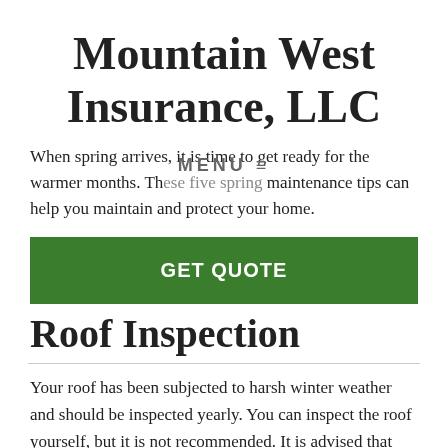Mountain West Insurance, LLC
When spring arrives, it is time to get ready for the warmer months. These five spring maintenance tips can help you maintain and protect your home.
GET QUOTE
Roof Inspection
Your roof has been subjected to harsh winter weather and should be inspected yearly. You can inspect the roof yourself, but it is not recommended. It is advised that you contact a